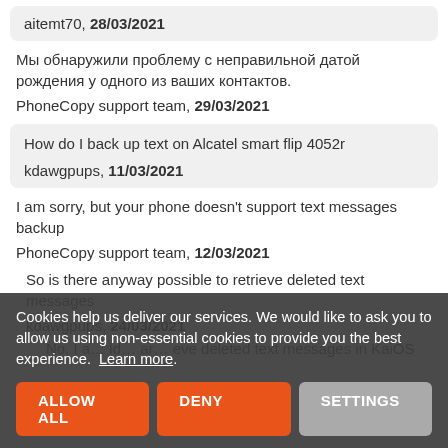aitemt70, 28/03/2021
Мы обнаружили проблему с неправильной датой рождения у одного из ваших контактов.
PhoneCopy support team, 29/03/2021
How do I back up text on Alcatel smart flip 4052r
kdawgpups, 11/03/2021
I am sorry, but your phone doesn't support text messages backup
PhoneCopy support team, 12/03/2021
So is there anyway possible to retrieve deleted text messages
kdawgpups, 24/03/2021
No. I a... ld... ar... eve deleted text messages in KaiOS
Cookies help us deliver our services. We would like to ask you to allow us using non-essential cookies to provide you the best experience. Learn more.
ALLOW ALL | DENY | SETTINGS